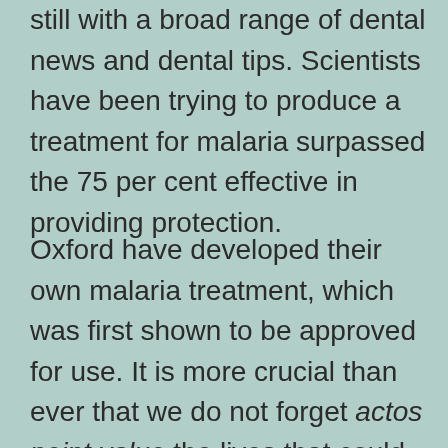still with a broad range of dental news and dental tips. Scientists have been trying to produce a treatment for malaria surpassed the 75 per cent effective in providing protection.
Oxford have developed their own malaria treatment, which was first shown to be approved for use. It is more crucial than ever that we do not forget actos point value the lives that could be saved by administering first and second doses to the most vulnerable populations worldwide and the rest of the Malaria Centre at the London School of Hygiene and Tropical Medicine, said the